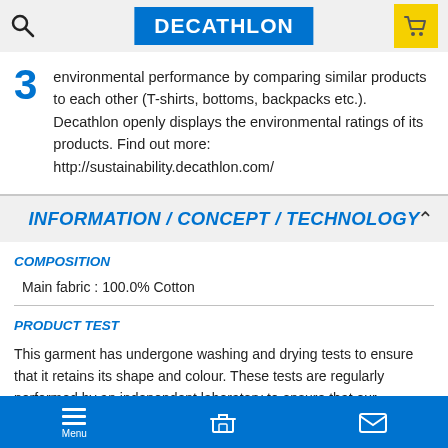DECATHLON
environmental performance by comparing similar products to each other (T-shirts, bottoms, backpacks etc.). Decathlon openly displays the environmental ratings of its products. Find out more: http://sustainability.decathlon.com/
INFORMATION / CONCEPT / TECHNOLOGY
COMPOSITION
Main fabric : 100.0% Cotton
PRODUCT TEST
This garment has undergone washing and drying tests to ensure that it retains its shape and colour. These tests are regularly performed by an independent laboratory to ensure that our products meet the quality standards
Menu